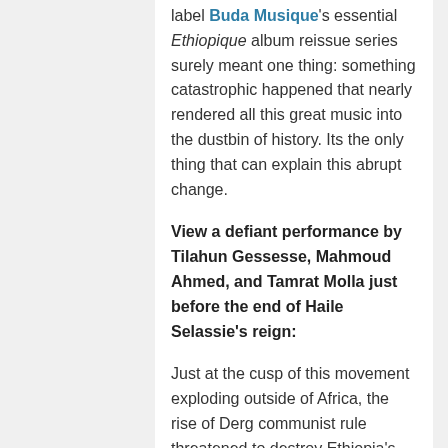label Buda Musique's essential Ethiopique album reissue series surely meant one thing: something catastrophic happened that nearly rendered all this great music into the dustbin of history. Its the only thing that can explain this abrupt change.
View a defiant performance by Tilahun Gessesse, Mahmoud Ahmed, and Tamrat Molla just before the end of Haile Selassie's reign:
Just at the cusp of this movement exploding outside of Africa, the rise of Derg communist rule threatened to destroy Ethiopia's music scene. After 1974 and The Red Terror, groups or musicians that had the liberty to create before under Emperor Selassie's authority, now were either being censored, threatened,